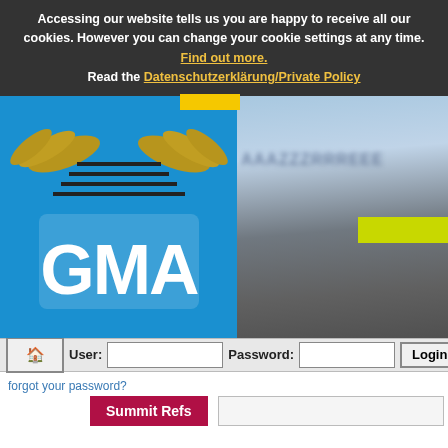Accessing our website tells us you are happy to receive all our cookies. However you can change your cookie settings at any time. Find out more. Read the Datenschutzerklärung/Private Policy
[Figure (screenshot): GMA logo on blue background (left) and blurred mountain/website screenshot (right)]
User: [input] Password: [input] Login Re[gister]
forgot your password?
Summit Refs